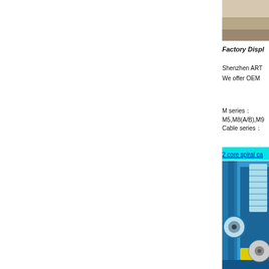[Figure (photo): Factory display top image - partial view of a factory floor or material]
Factory Displ
Shenzhen ART
We offer OEM
M series：
M5,M8(A/B),M9
Cable series：
2 core spiral ca
[Figure (photo): Factory display bottom image - blue industrial cable winding machine]